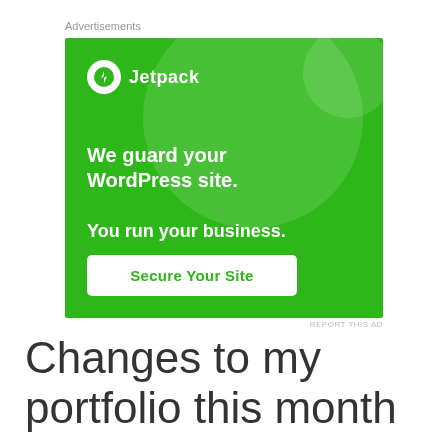Advertisements
[Figure (illustration): Jetpack advertisement banner: green background with decorative circles, Jetpack logo, text 'We guard your WordPress site. You run your business.' and a 'Secure Your Site' call-to-action button]
REPORT THIS AD
Changes to my portfolio this month